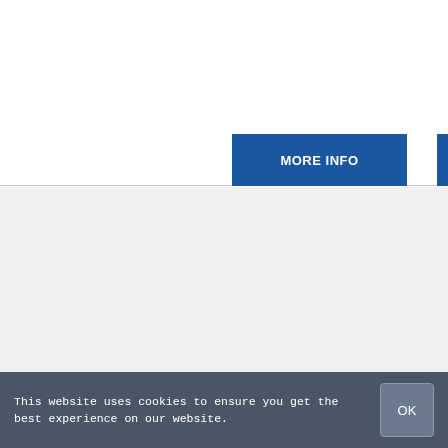[Figure (screenshot): White content area with a blue 'MORE INFO' button and a partial blue bar on the right edge]
[Figure (screenshot): Light gray area below the main content section]
This website uses cookies to ensure you get the best experience on our website.